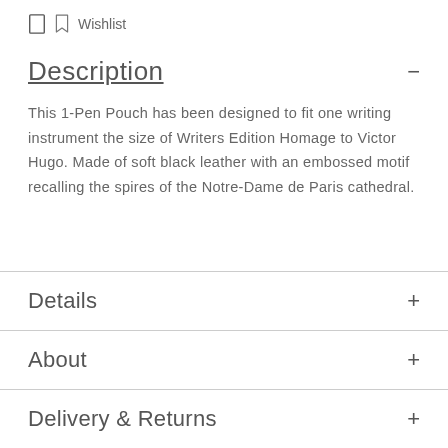Wishlist
Description
This 1-Pen Pouch has been designed to fit one writing instrument the size of Writers Edition Homage to Victor Hugo. Made of soft black leather with an embossed motif recalling the spires of the Notre-Dame de Paris cathedral.
Details
About
Delivery & Returns